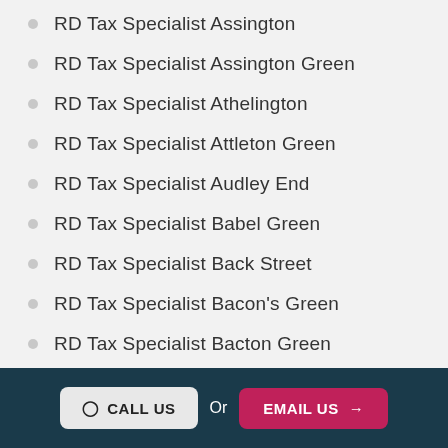RD Tax Specialist Assington
RD Tax Specialist Assington Green
RD Tax Specialist Athelington
RD Tax Specialist Attleton Green
RD Tax Specialist Audley End
RD Tax Specialist Babel Green
RD Tax Specialist Back Street
RD Tax Specialist Bacon's Green
RD Tax Specialist Bacton Green
RD Tax Specialist Badingham (partial)
CALL US  Or  EMAIL US →